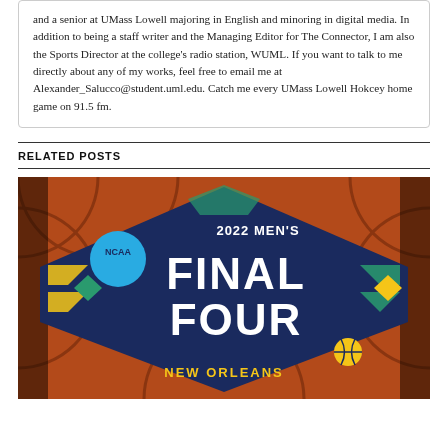and a senior at UMass Lowell majoring in English and minoring in digital media. In addition to being a staff writer and the Managing Editor for The Connector, I am also the Sports Director at the college's radio station, WUML. If you want to talk to me directly about any of my works, feel free to email me at Alexander_Salucco@student.uml.edu. Catch me every UMass Lowell Hokcey home game on 91.5 fm.
RELATED POSTS
[Figure (photo): 2022 Men's Final Four New Orleans NCAA logo on a basketball background]